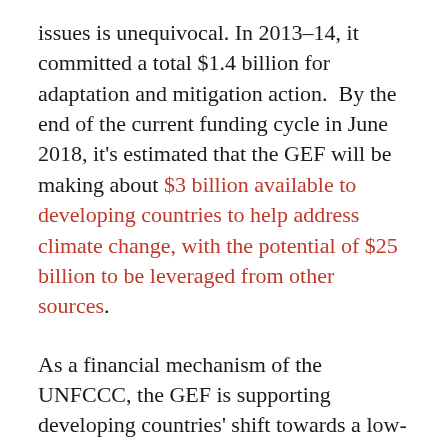issues is unequivocal. In 2013–14, it committed a total $1.4 billion for adaptation and mitigation action.  By the end of the current funding cycle in June 2018, it's estimated that the GEF will be making about $3 billion available to developing countries to help address climate change, with the potential of $25 billion to be leveraged from other sources.
As a financial mechanism of the UNFCCC, the GEF is supporting developing countries' shift towards a low-emission development path.  Besides its ongoing support to countries in their UNFCCC obligations (such as national communications and biennial update reports), the GEF has also provided financial support to 46 countries as they prepared